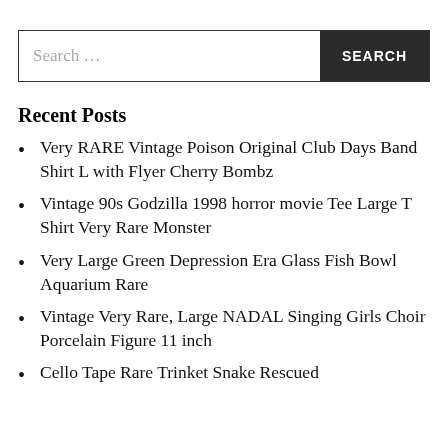Search ...
Recent Posts
Very RARE Vintage Poison Original Club Days Band Shirt L with Flyer Cherry Bombz
Vintage 90s Godzilla 1998 horror movie Tee Large T Shirt Very Rare Monster
Very Large Green Depression Era Glass Fish Bowl Aquarium Rare
Vintage Very Rare, Large NADAL Singing Girls Choir Porcelain Figure 11 inch
Cello Tape Rare Trinket Snake Rescued